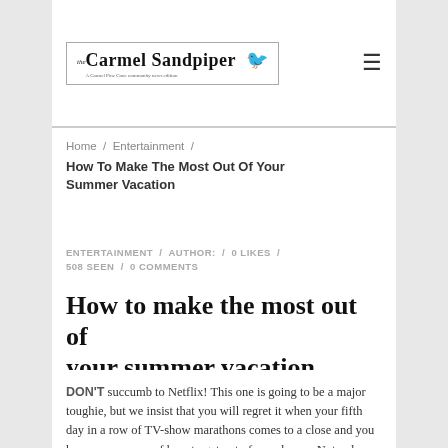the Carmel Sandpiper [logo with bird]
Home / Entertainment / How To Make The Most Out Of Your Summer Vacation
ENTERTAINMENT / AUTHOR: / 0 LIKES / 508 SEEN / 0 COMMENTS
How to make the most out of your summer vacation
DON'T succumb to Netflix! This one is going to be a major toughie, but we insist that you will regret it when your fifth day in a row of TV-show marathons comes to a close and you have no memory of how to get out of your house. Not only will Netflix